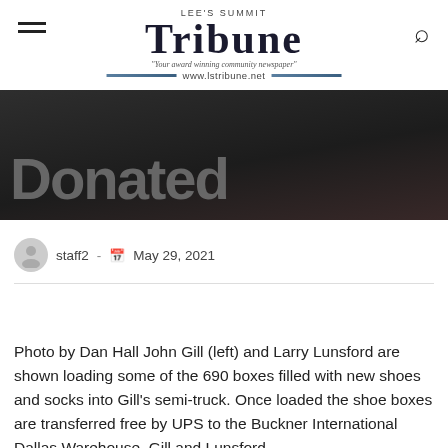Lee's Summit Tribune — www.lstribune.net
[Figure (photo): Dark hero image with partially visible bold white/grey text reading 'Donated' against a dark background]
staff2 · May 29, 2021
Photo by Dan Hall John Gill (left) and Larry Lunsford are shown loading some of the 690 boxes filled with new shoes and socks into Gill's semi-truck. Once loaded the shoe boxes are transferred free by UPS to the Buckner International Dallas Warehouse. Gill and Lunsford